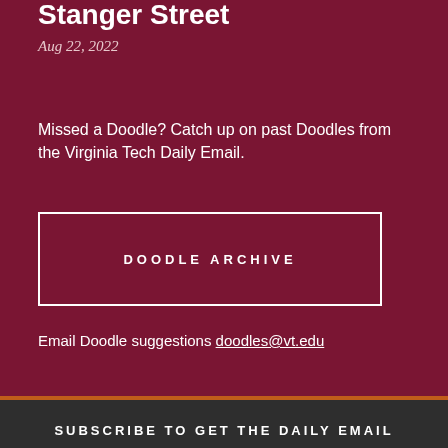Stanger Street
Aug 22, 2022
Missed a Doodle? Catch up on past Doodles from the Virginia Tech Daily Email.
DOODLE ARCHIVE
Email Doodle suggestions doodles@vt.edu
SUBSCRIBE TO GET THE DAILY EMAIL